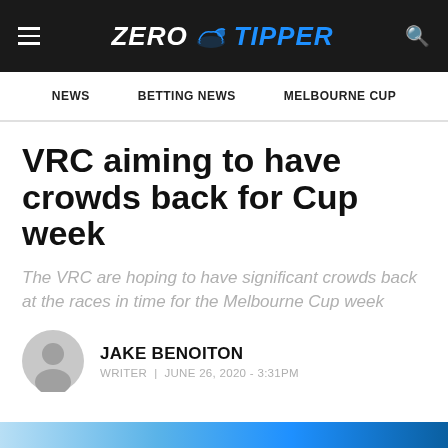ZERO TIPPER
NEWS | BETTING NEWS | MELBOURNE CUP
VRC aiming to have crowds back for Cup week
The VRC are hoping to have significant crowds back at the races in time for the Melbourne Cup week
JAKE BENOITON
WRITER | JUNE 26, 2020 - 3:31PM